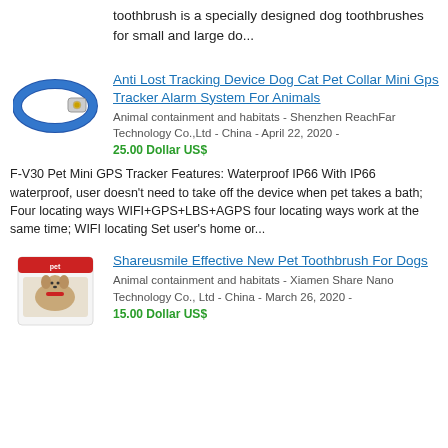toothbrush is a specially designed dog toothbrushes for small and large do...
[Figure (photo): Blue pet collar/GPS tracker device]
Anti Lost Tracking Device Dog Cat Pet Collar Mini Gps Tracker Alarm System For Animals
Animal containment and habitats - Shenzhen ReachFar Technology Co.,Ltd - China - April 22, 2020 -
25.00 Dollar US$
F-V30 Pet Mini GPS Tracker Features: Waterproof IP66 With IP66 waterproof, user doesn't need to take off the device when pet takes a bath; Four locating ways WIFI+GPS+LBS+AGPS four locating ways work at the same time; WIFI locating Set user's home or...
[Figure (photo): Pet toothbrush product with dog image]
Shareusmile Effective New Pet Toothbrush For Dogs
Animal containment and habitats - Xiamen Share Nano Technology Co., Ltd - China - March 26, 2020 -
15.00 Dollar US$